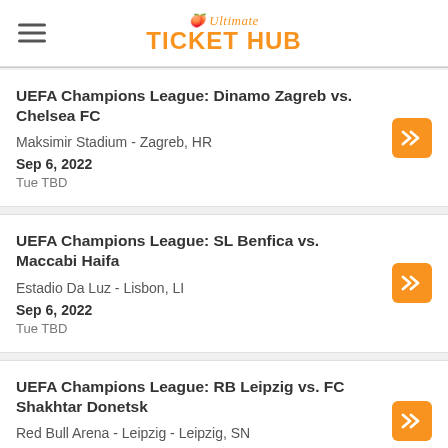Ultimate TICKET HUB
UEFA Champions League: Dinamo Zagreb vs. Chelsea FC | Maksimir Stadium - Zagreb, HR | Sep 6, 2022 | Tue TBD
UEFA Champions League: SL Benfica vs. Maccabi Haifa | Estadio Da Luz - Lisbon, LI | Sep 6, 2022 | Tue TBD
UEFA Champions League: RB Leipzig vs. FC Shakhtar Donetsk | Red Bull Arena - Leipzig - Leipzig, SN